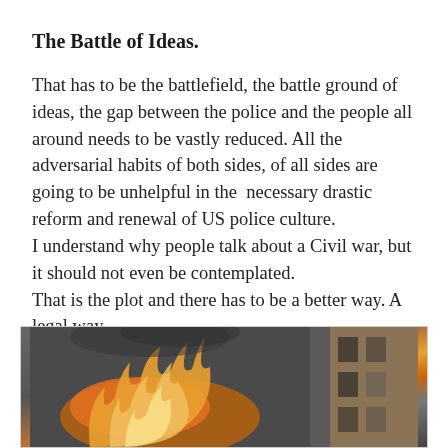The Battle of Ideas.
That has to be the battlefield, the battle ground of ideas, the gap between the police and the people all around needs to be vastly reduced. All the adversarial habits of both sides, of all sides are going to be unhelpful in the  necessary drastic reform and renewal of US police culture.
I understand why people talk about a Civil war, but it should not even be contemplated.
That is the plot and there has to be a better way. A legal way.
[Figure (photo): A photograph showing a fire or explosion with orange flames on the left side and a brick building visible on the right side, partially obscured by smoke.]